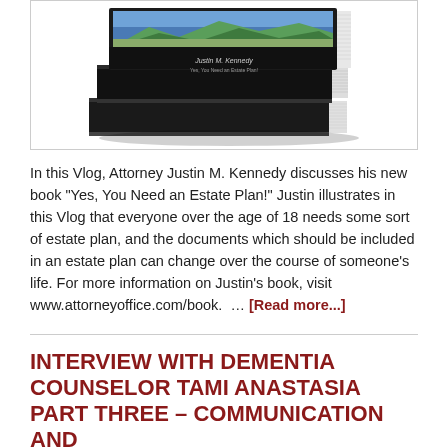[Figure (photo): Stack of books with a dark cover and a landscape photo on top, presumably Justin M. Kennedy's book 'Yes, You Need an Estate Plan!']
In this Vlog, Attorney Justin M. Kennedy discusses his new book "Yes, You Need an Estate Plan!" Justin illustrates in this Vlog that everyone over the age of 18 needs some sort of estate plan, and the documents which should be included in an estate plan can change over the course of someone's life. For more information on Justin's book, visit www.attorneyoffice.com/book. … [Read more...]
INTERVIEW WITH DEMENTIA COUNSELOR TAMI ANASTASIA PART THREE – COMMUNICATION AND